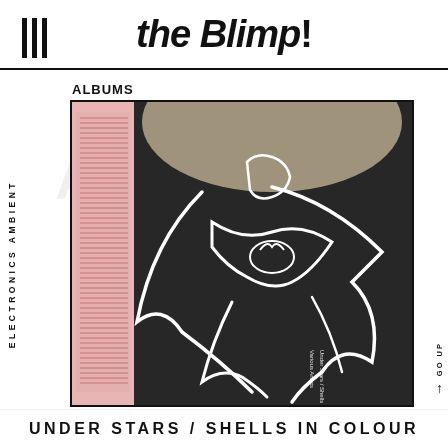III  the Blimp!
ALBUMS
ELECTRONICS AMBIENT
[Figure (photo): Album cover for 'Under Stars / Shells in Colour' by Various Artists on Plo 240 label. Dark background with white line-art illustration of an abstract figure. Pink/salmon colored spine on left side with small text. Pink square label in top right corner with 'Plo 240' text.]
GO UP ↑
UNDER STARS / SHELLS IN COLOUR